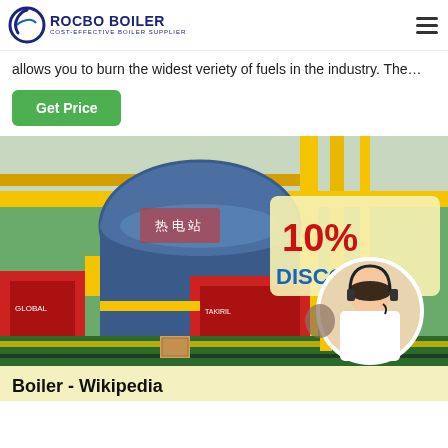ROCBO BOILER — COST-EFFECTIVE BOILER SUPPLIER
allows you to burn the widest veriety of fuels in the industry. The…
Get Price
[Figure (photo): Industrial boiler facility with large blue cylindrical boilers, yellow pipes, red burner units, and a customer service representative inset with a 10% DISCOUNT promotional overlay.]
Boiler - Wikipedia